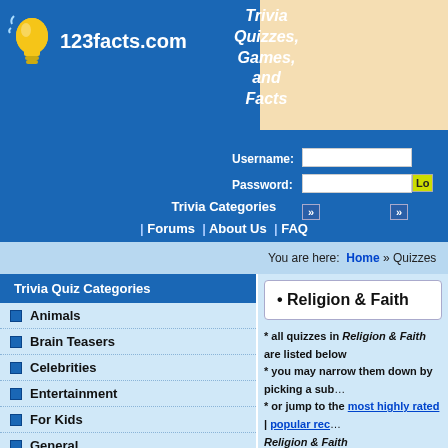123facts.com — Trivia Quizzes, Games, and Facts
Trivia Categories | Forums | About Us | FAQ | Contact Us
You are here: Home » Quizzes
Trivia Quiz Categories
Animals
Brain Teasers
Celebrities
Entertainment
For Kids
General
Geography
History
Hobbies
Humanities
• Religion & Faith
* all quizzes in Religion & Faith are listed below
* you may narrow them down by picking a sub...
* or jump to the most highly rated | popular rec... Religion & Faith
Subcategories:
Buddhism
Hinduism
Other Religion